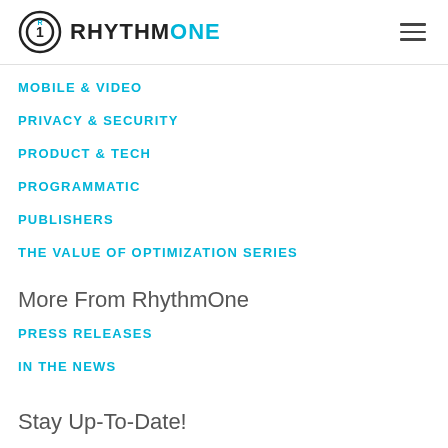RHYTHM ONE
MOBILE & VIDEO
PRIVACY & SECURITY
PRODUCT & TECH
PROGRAMMATIC
PUBLISHERS
THE VALUE OF OPTIMIZATION SERIES
More From RhythmOne
PRESS RELEASES
IN THE NEWS
Stay Up-To-Date!